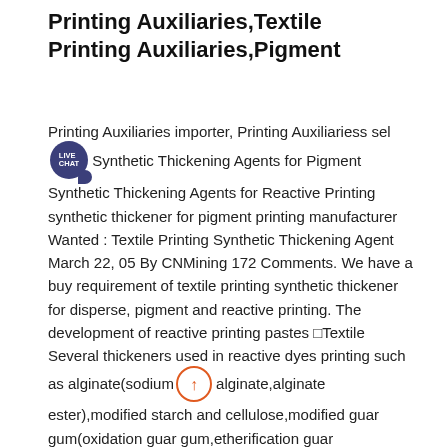Printing Auxiliaries,Textile Printing Auxiliaries,Pigment
Printing Auxiliaries importer, Printing Auxiliariess sell [LIVE CHAT badge] Synthetic Thickening Agents for Pigment Synthetic Thickening Agents for Reactive Printing synthetic thickener for pigment printing manufacturer Wanted : Textile Printing Synthetic Thickening Agent March 22, 05 By CNMining 172 Comments. We have a buy requirement of textile printing synthetic thickener for disperse, pigment and reactive printing. The development of reactive printing pastes ⬜Textile Several thickeners used in reactive dyes printing such as alginate(sodium alginate,alginate ester),modified starch and cellulose,modified guar gum(oxidation guar gum,etherification guar gum),synthetic thickeners and mineral thickeners were introduced through their preparation method,advantage and weakness in properties and improvements Biotex™ Dyeing Washing